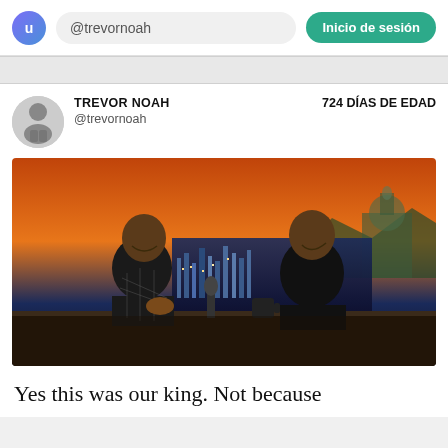@trevornoah  |  Inicio de sesión
TREVOR NOAH @trevornoah  |  724 DÍAS DE EDAD
[Figure (photo): Two men laughing together at a late-night talk show desk. The man on the left wears a dark checkered blazer; the man on the right wears a dark suit. A cityscape and colorful sky are visible in the background set, along with what appears to be a US Capitol dome.]
Yes this was our king. Not because